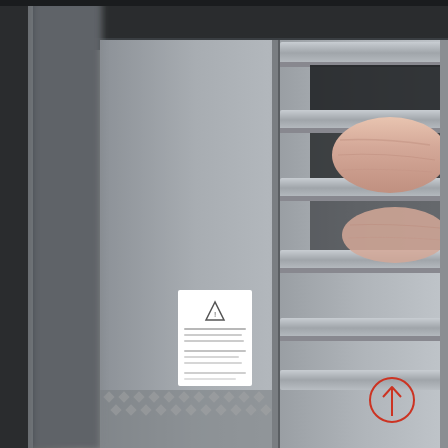[Figure (photo): Close-up photograph of a livestock transport truck (metal/galvanized steel), showing metal horizontal bars/rails of the animal transport compartment. A pink pig body is partially visible through the bars on the right side. There is a white warning label with a triangle caution symbol affixed to the metal panel in the center-left area. The label contains small text. At the bottom right of the metal panel there is a red/orange circle with an upward-pointing arrow symbol. The overall image has a shallow depth of field with the left portion blurred.]